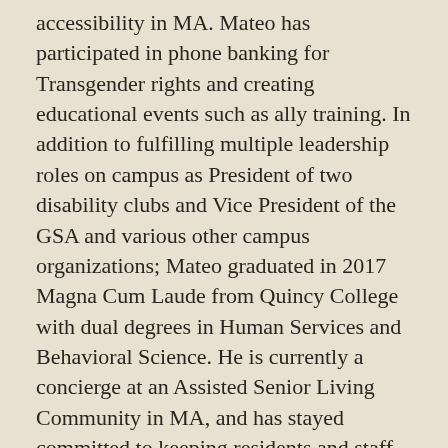accessibility in MA. Mateo has participated in phone banking for Transgender rights and creating educational events such as ally training. In addition to fulfilling multiple leadership roles on campus as President of two disability clubs and Vice President of the GSA and various other campus organizations; Mateo graduated in 2017 Magna Cum Laude from Quincy College with dual degrees in Human Services and Behavioral Science. He is currently a concierge at an Assisted Senior Living Community in MA, and has stayed committed to keeping residents and staff safe and uplifted during the COVID-19 crisis. Mateo is passionate about being active in his synagogue and in his free time plays with his beloved service dog, Tilly!